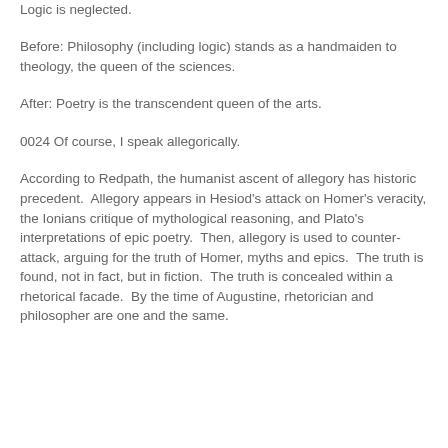Poetry gains attention.
Logic is neglected.
Before: Philosophy (including logic) stands as a handmaiden to theology, the queen of the sciences.
After: Poetry is the transcendent queen of the arts.
0024 Of course, I speak allegorically.
According to Redpath, the humanist ascent of allegory has historic precedent.  Allegory appears in Hesiod's attack on Homer's veracity, the Ionians critique of mythological reasoning, and Plato's interpretations of epic poetry.  Then, allegory is used to counter-attack, arguing for the truth of Homer, myths and epics.  The truth is found, not in fact, but in fiction.  The truth is concealed within a rhetorical facade.  By the time of Augustine, rhetorician and philosopher are one and the same.